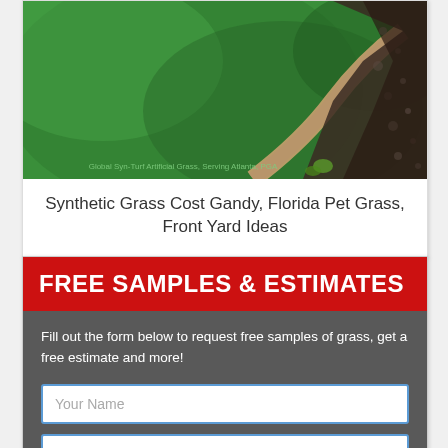[Figure (photo): Aerial/close-up view of lush green synthetic grass lawn with a curved brick border separating it from a dark gravel/mulch garden bed. A watermark reads 'Global Syn-Turf Artificial Grass, Serving Atlanta, PGA']
Synthetic Grass Cost Gandy, Florida Pet Grass, Front Yard Ideas
FREE SAMPLES & ESTIMATES
Fill out the form below to request free samples of grass, get a free estimate and more!
Your Name
Your Zip Code